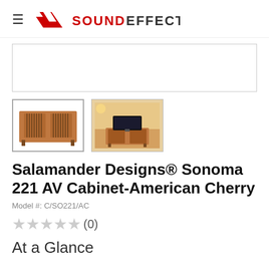≡ SOUND EFFECTS
[Figure (photo): Large main product image area (blank/white placeholder)]
[Figure (photo): Thumbnail 1: Salamander Designs Sonoma 221 AV Cabinet in American Cherry wood finish, front view]
[Figure (photo): Thumbnail 2: Salamander Designs Sonoma 221 AV Cabinet shown in a living room setting with TV on top]
Salamander Designs® Sonoma 221 AV Cabinet-American Cherry
Model #: C/SO221/AC
★ ★ ★ ★ ★ (0)
At a Glance